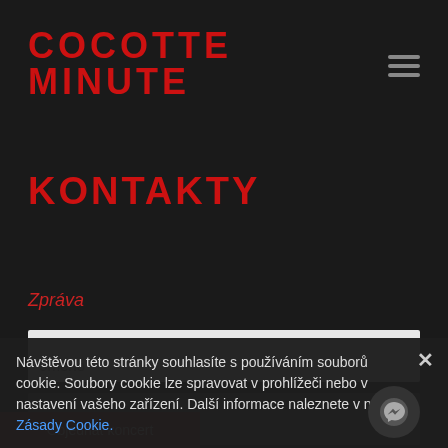[Figure (logo): Cocotte Minute band logo in red runic/geometric style lettering]
KONTAKTY
Zpráva
[Figure (screenshot): Form input field for Jmeno (Name) — light gray background]
[Figure (screenshot): Form input field for E-mail — dark gray background]
Návštěvou této stránky souhlasíte s používáním souborů cookie. Soubory cookie lze spravovat v prohlížeči nebo v nastavení vašeho zařízení. Další informace naleznete v našich Zásady Cookie.
Objednat koncert